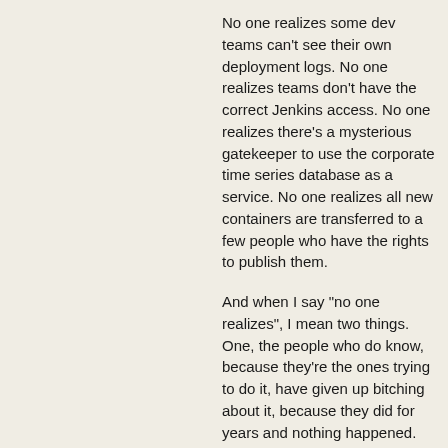No one realizes some dev teams can't see their own deployment logs. No one realizes teams don't have the correct Jenkins access. No one realizes there's a mysterious gatekeeper to use the corporate time series database as a service. No one realizes all new containers are transferred to a few people who have the rights to publish them.
And when I say "no one realizes", I mean two things. One, the people who do know, because they're the ones trying to do it, have given up bitching about it, because they did for years and nothing happened. Two, the people who can actually change things don't know, either because they actively ignored / forgot or because the requests never reached them (usually because a middle transport manager didn't understand what was actually being asked).
And so... the status quo prevails, and everyone has a vague sense that something isn't working, but